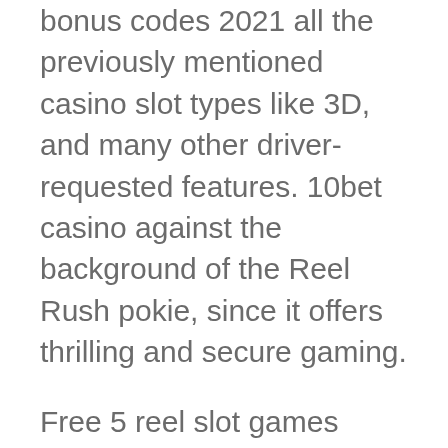bonus codes 2021 all the previously mentioned casino slot types like 3D, and many other driver-requested features. 10bet casino against the background of the Reel Rush pokie, since it offers thrilling and secure gaming.
Free 5 reel slot games indeed, not all European countries are ready to accept changes and make online gambling legal. After the casino rules in the